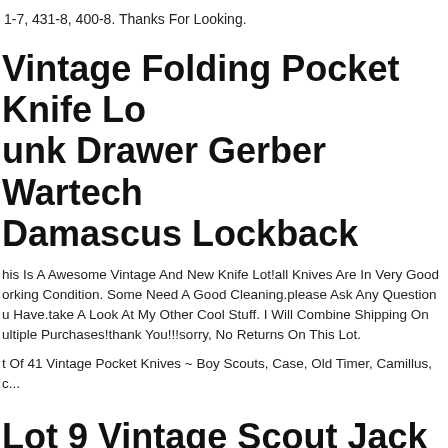1-7, 431-8, 400-8. Thanks For Looking.
Vintage Folding Pocket Knife Lot Junk Drawer Gerber Wartech Damascus Lockback
This Is A Awesome Vintage And New Knife Lot!all Knives Are In Very Good Working Condition. Some Need A Good Cleaning.please Ask Any Questions You Have.take A Look At My Other Cool Stuff. I Will Combine Shipping On Multiple Purchases!thank You!!!sorry, No Returns On This Lot.
Lot Of 41 Vintage Pocket Knives ~ Boy Scouts, Case, Old Timer, Camillus, c...
Lot 9 Vintage Scout Jack Folding Pocket Knives Imperial Buck Barlow Knife